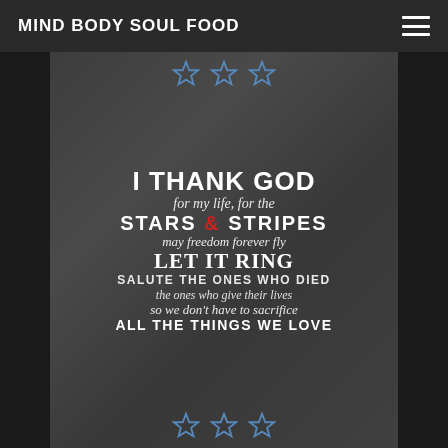MIND BODY SOUL FOOD
[Figure (illustration): Chalkboard-style patriotic poster with blue stars top and bottom, white text on dark chalkboard background. Text reads: I THANK GOD / for my life, for the / STARS & STRIPES / may freedom forever fly / LET IT RING / SALUTE THE ONES WHO DIED / the ones who give their lives / so we don't have to sacrifice / ALL THE THINGS WE LOVE. The ampersand in STARS & STRIPES is in red.]